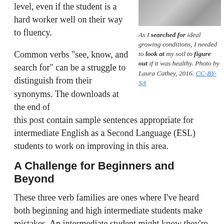level, even if the student is a hard worker well on their way to fluency.
[Figure (photo): Photo of plants or soil, related to gardening/growing conditions]
As I searched for ideal growing conditions, I needed to look at my soil to figure out if it was healthy. Photo by Laura Cathey, 2016. CC-BY-SA
Common verbs “see, know, and search for” can be a struggle to distinguish from their synonyms. The downloads at the end of this post contain sample sentences appropriate for intermediate English as a Second Language (ESL) students to work on improving in this area.
A Challenge for Beginners and Beyond
These three verb families are ones where I’ve heard both beginning and high intermediate students make mistakes. An intermediate student might know they’re making a mistake and be able to ask, “Did I ‘watch’ TV or ‘see’ it?” But students may also not notice when they’re on shaky ground and get